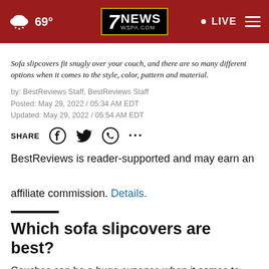7NEWS WSPA.COM | 69° | LIVE
Sofa slipcovers fit snugly over your couch, and there are so many different options when it comes to the style, color, pattern and material.
by: BestReviews Staff, BestReviews Staff
Posted: May 29, 2022 / 05:34 AM EDT
Updated: May 29, 2022 / 05:54 AM EDT
SHARE
BestReviews is reader-supported and may earn an affiliate commission. Details.
Which sofa slipcovers are best?
Couches can be a huge expense when it comes to